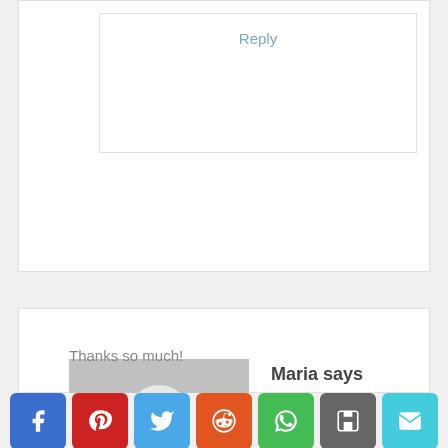Reply
Maria says
March 8, 2011 at 9:16 am
[Figure (illustration): Default user avatar placeholder - grey square with white silhouette of a person]
Thanks so much!